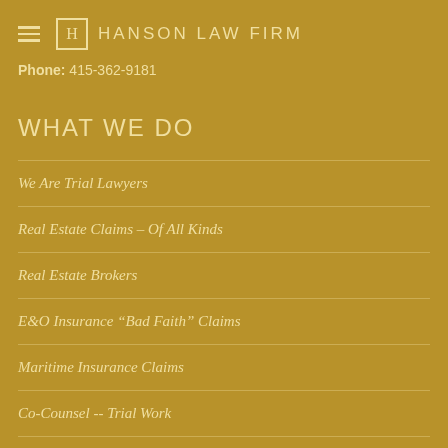HANSON LAW FIRM
Phone: 415-362-9181
WHAT WE DO
We Are Trial Lawyers
Real Estate Claims – Of All Kinds
Real Estate Brokers
E&O Insurance "Bad Faith" Claims
Maritime Insurance Claims
Co-Counsel -- Trial Work